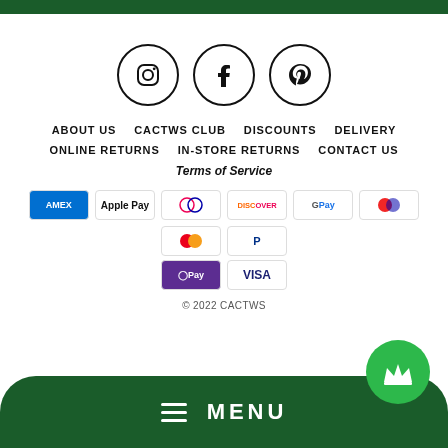[Figure (other): Social media icons: Instagram, Facebook, Pinterest in circles]
ABOUT US  CACTWS CLUB  DISCOUNTS  DELIVERY
ONLINE RETURNS  IN-STORE RETURNS  CONTACT US
Terms of Service
[Figure (other): Payment method logos: AMEX, Apple Pay, Diners, Discover, Google Pay, Maestro, Mastercard, PayPal, OPay, VISA]
© 2022 CACTWS
≡  MENU